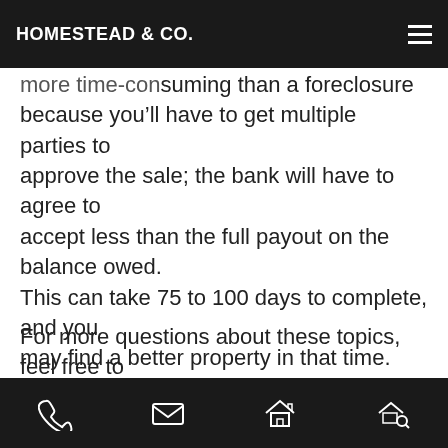HOMESTEAD & CO.
homeowner must “short” the payoff. This process is more time-consuming than a foreclosure because you’ll have to get multiple parties to approve the sale; the bank will have to agree to accept less than the full payout on the balance owed. This can take 75 to 100 days to complete, and you may find a better property in that time.
For more questions about these topics, feel free to reach out to me. I’d be happy to help you.
Share this post:
[Figure (logo): Twitter bird icon (blue circle with white bird)]
[Figure (logo): Facebook f icon (dark blue circle with white f)]
Phone | Email | House | Search icons